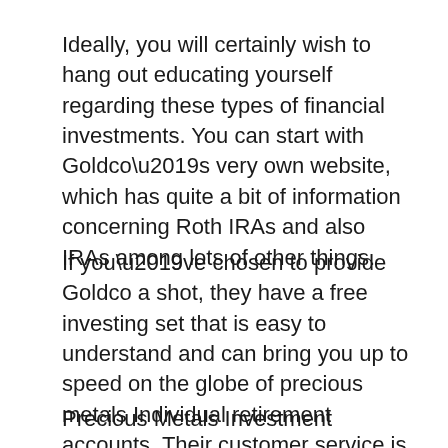Ideally, you will certainly wish to hang out educating yourself regarding these types of financial investments. You can start with Goldco’s very own website, which has quite a bit of information concerning Roth IRAs and also IRAs among lots of other things.
If you’ve chosen to provide Goldco a shot, they have a free investing set that is easy to understand and can bring you up to speed on the globe of precious metals Individual retirement accounts. Their customer service is great, and quick to respond, so you can always approach them with any type of questions you might have.
Precious Metals Investment